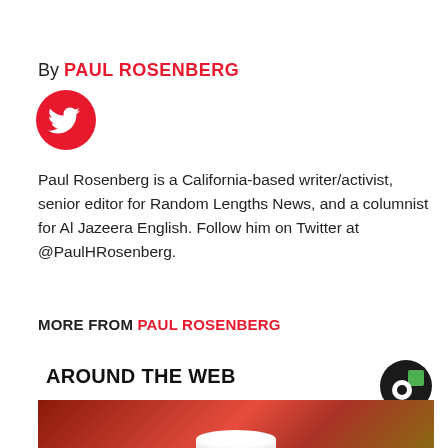By PAUL ROSENBERG
[Figure (logo): Twitter bird icon in red circle]
Paul Rosenberg is a California-based writer/activist, senior editor for Random Lengths News, and a columnist for Al Jazeera English. Follow him on Twitter at @PaulHRosenberg.
MORE FROM PAUL ROSENBERG
AROUND THE WEB
[Figure (logo): Outbrain logo - black circle with green square accent]
[Figure (photo): Close-up photo of a red spoon or scoop with white powder, on a wooden surface]